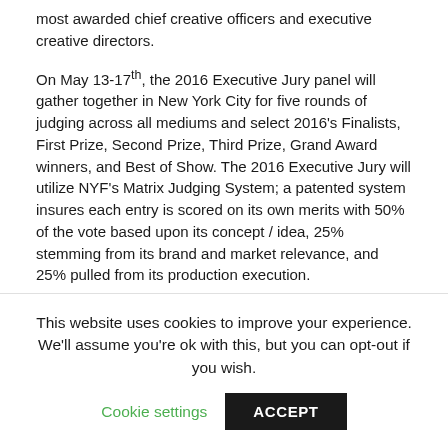most awarded chief creative officers and executive creative directors.
On May 13-17th, the 2016 Executive Jury panel will gather together in New York City for five rounds of judging across all mediums and select 2016's Finalists, First Prize, Second Prize, Third Prize, Grand Award winners, and Best of Show. The 2016 Executive Jury will utilize NYF's Matrix Judging System; a patented system insures each entry is scored on its own merits with 50% of the vote based upon its concept / idea, 25% stemming from its brand and market relevance, and 25% pulled from its production execution.
The 2016 New York Show speaker series, creative panel sessions and networking events will take place on Wednesday May 18th and Thursday, May 19th. 2016's Creative Sessions will take place at the NYIT Auditorium, 1871 Broadway, between 61st & 62nd Street. The New York Show gala will be held that evening in the renowned Jazz
This website uses cookies to improve your experience. We'll assume you're ok with this, but you can opt-out if you wish.
Cookie settings  ACCEPT